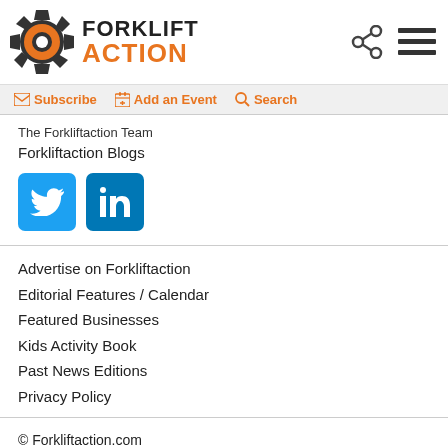Forklift Action - Header with logo, share and menu icons
[Figure (logo): Forklift Action logo with gear icon and orange ACTION text]
Subscribe | Add an Event | Search
The Forkliftaction Team
Forkliftaction Blogs
[Figure (illustration): Twitter and LinkedIn social media buttons]
Advertise on Forkliftaction
Editorial Features / Calendar
Featured Businesses
Kids Activity Book
Past News Editions
Privacy Policy
© Forkliftaction.com
Forkliftaction Media Pty Ltd
63 Lugg Street